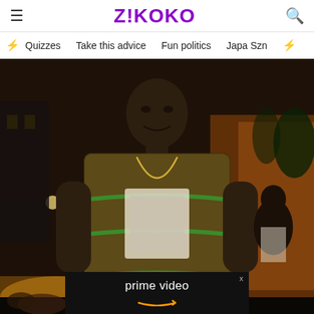Z!KOKO
Quizzes  Take this advice  Fun politics  Japa Szn
[Figure (photo): A man standing outdoors at night wearing a patterned Gucci-style shirt with green stripes, pointing at the camera. City lights and other people visible in the background.]
[Figure (other): Amazon Prime Video advertisement overlay at bottom of image with 'prime video' text and Amazon smile/arrow logo.]